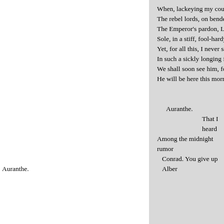When, lackeying my counse
The rebel lords, on bended k
The Emperor's pardon, Ludo
Sole, in a stiff, fool-hardy, s
Yet, for all this, I never saw
In such a sickly longing for
We shall soon see him, for t
He will be here this morning
Auranthe.
That I heard
Among the midnight rumor
Conrad. You give up Alber
Auranthe.
E'en for his highness Ludol
I would not Albert suffer an
Have I not labored, pl
See you sp
Nor be pathetic, my kind be
On all the many bounties o